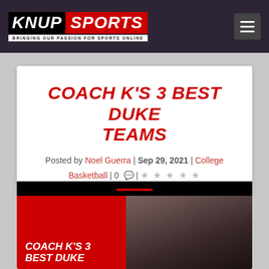KNUP SPORTS — BRINGING OUR PASSION FOR SPORTS ONLINE
COACH K'S 3 BEST DUKE TEAMS
Posted by Noel Guerra | Sep 29, 2021 | College Basketball | 0 | ☆☆☆☆☆
[Figure (photo): Article header image showing COACH K'S 3 BEST DUKE text overlay on red background with crowd/celebration photo on right]